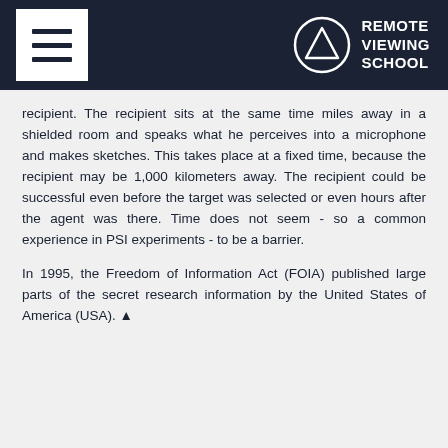Remote Viewing School
recipient. The recipient sits at the same time miles away in a shielded room and speaks what he perceives into a microphone and makes sketches. This takes place at a fixed time, because the recipient may be 1,000 kilometers away. The recipient could be successful even before the target was selected or even hours after the agent was there. Time does not seem - so a common experience in PSI experiments - to be a barrier.
In 1995, the Freedom of Information Act (FOIA) published large parts of the secret research information by the United States of America (USA). ▲